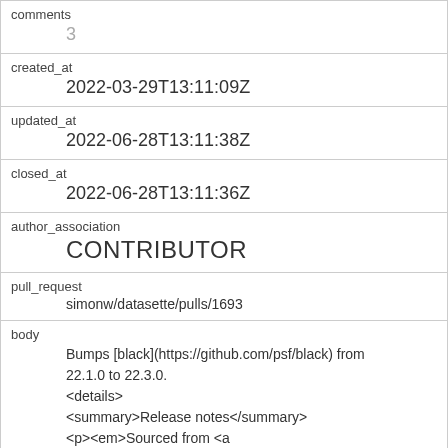| comments | 3 |
| created_at | 2022-03-29T13:11:09Z |
| updated_at | 2022-06-28T13:11:38Z |
| closed_at | 2022-06-28T13:11:36Z |
| author_association | CONTRIBUTOR |
| pull_request | simonw/datasette/pulls/1693 |
| body | Bumps [black](https://github.com/psf/black) from 22.1.0 to 22.3.0.
<details>
<summary>Release notes</summary>
<p><em>Sourced from <a href="https://github.com/psf/black/releases">black's |